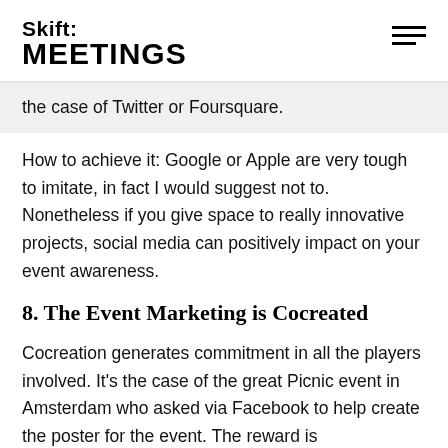Skift MEETINGS
the case of Twitter or Foursquare.
How to achieve it: Google or Apple are very tough to imitate, in fact I would suggest not to. Nonetheless if you give space to really innovative projects, social media can positively impact on your event awareness.
8. The Event Marketing is Cocreated
Cocreation generates commitment in all the players involved. It's the case of the great Picnic event in Amsterdam who asked via Facebook to help create the poster for the event. The reward is